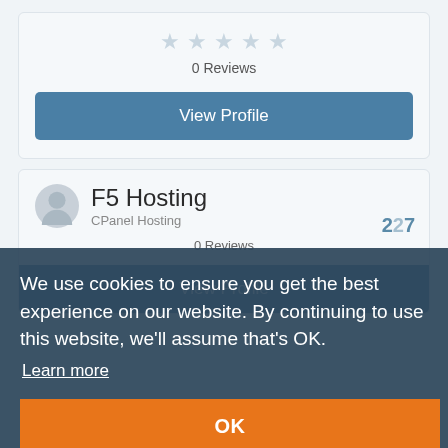[Figure (other): Five star rating icons (empty/light colored) indicating 0 reviews]
0 Reviews
View Profile
F5 Hosting
CPanel Hosting
227
0 Reviews
View Profile
We use cookies to ensure you get the best experience on our website. By continuing to use this website, we'll assume that's OK.
Learn more
OK